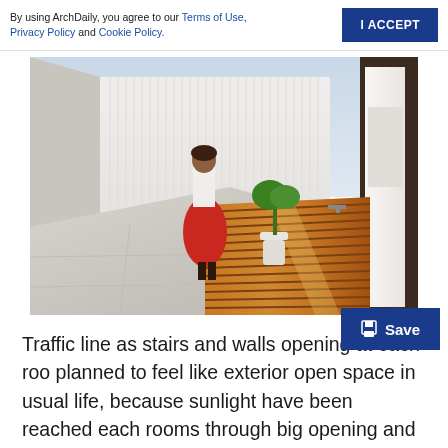By using ArchDaily, you agree to our Terms of Use, Privacy Policy and Cookie Policy.
[Figure (photo): A woman in a red skirt and white top stands on a rooftop terrace with wooden deck boards and a potted plant against a white corrugated wall. Urban surroundings visible in background.]
Traffic line as stairs and walls opening at each roo planned to feel like exterior open space in usual life, because sunlight have been reached each rooms through big opening and double floor height at living.